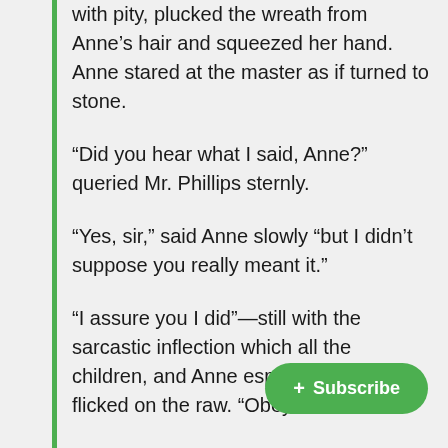with pity, plucked the wreath from Anne’s hair and squeezed her hand. Anne stared at the master as if turned to stone.
“Did you hear what I said, Anne?” queried Mr. Phillips sternly.
“Yes, sir,” said Anne slowly “but I didn’t suppose you really meant it.”
“I assure you I did”—still with the sarcastic inflection which all the children, and Anne especially, hated. It flicked on the raw. “Obey me at once.”
For a moment Anne looked as if she meant to disobey. Then, realizing that there was no help